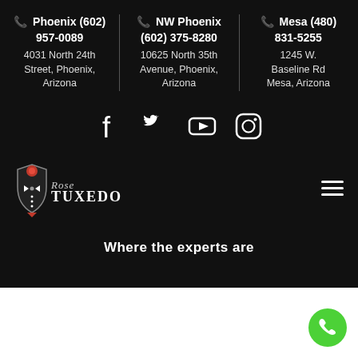Phoenix (602) 957-0089
4031 North 24th Street, Phoenix, Arizona
NW Phoenix (602) 375-8280
10625 North 35th Avenue, Phoenix, Arizona
Mesa (480) 831-5255
1245 W. Baseline Rd Mesa, Arizona
[Figure (logo): Social media icons: Facebook, Twitter, YouTube, Instagram]
[Figure (logo): Rose Tuxedo logo with tuxedo shield icon and brand name]
Where the experts are